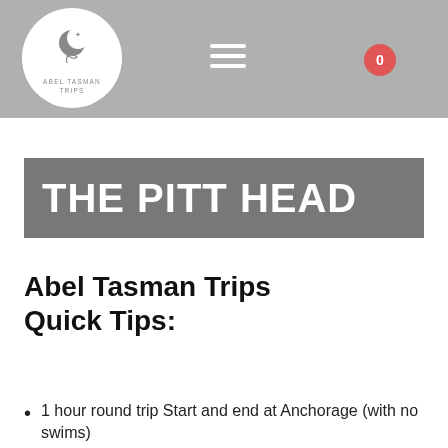[Figure (logo): Abel Tasman Trips logo: crescent moon with star and leaf branch inside a white circle on a gray header bar]
Abel Tasman Trips — navigation header with hamburger menu and cart badge showing 0
THE PITT HEAD
Abel Tasman Trips Quick Tips:
1 hour round trip Start and end at Anchorage (with no swims)